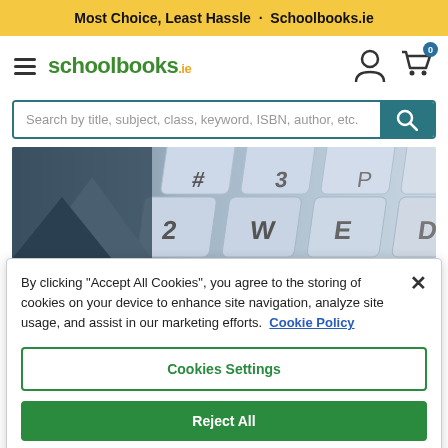Most Choice, Least Hassle · Schoolbooks.ie
[Figure (logo): Schoolbooks.ie logo with hamburger menu and cart/user icons]
Search by title, subject, class, keyword, ISBN, author, etc.
[Figure (photo): Close-up photo of a keyboard with light blue keys, letters W, E, D, #, 3, 2 visible]
By clicking "Accept All Cookies", you agree to the storing of cookies on your device to enhance site navigation, analyze site usage, and assist in our marketing efforts. Cookie Policy
Cookies Settings
Reject All